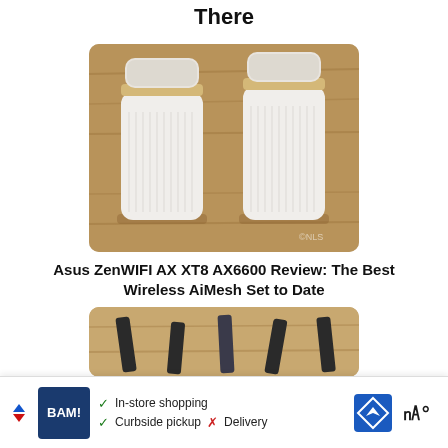There
[Figure (photo): Two white ASUS ZenWiFi AX XT8 mesh router units standing upright on a wooden surface]
Asus ZenWIFI AX XT8 AX6600 Review: The Best Wireless AiMesh Set to Date
[Figure (photo): Partially visible photo showing several dark elongated objects on a wooden surface]
[Figure (other): Advertisement banner: BAM! logo with checkmarks for In-store shopping, Curbside pickup, and X for Delivery, with map navigation icon and weather icon]